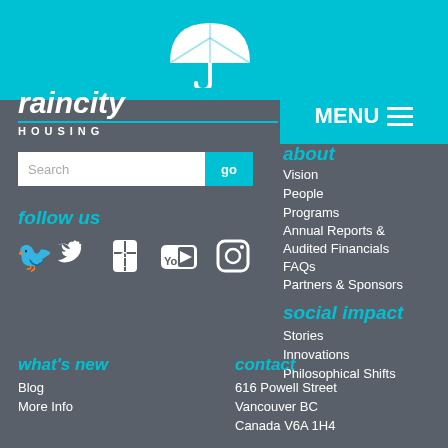[Figure (logo): Raincity Housing logo with umbrella icon, italic text 'raincity' and 'HOUSING' below]
Search
go
MENU
about
Vision
People
Programs
Annual Reports & Audited Financials
FAQs
Partners & Sponsors
social impact
Stories
Innovations
Philosophical Shifts
follow us
[Figure (infographic): Social media icons: Twitter, Facebook, YouTube, Instagram]
what's new
Blog
More Info
contact
616 Powell Street
Vancouver BC
Canada V6A 1H4